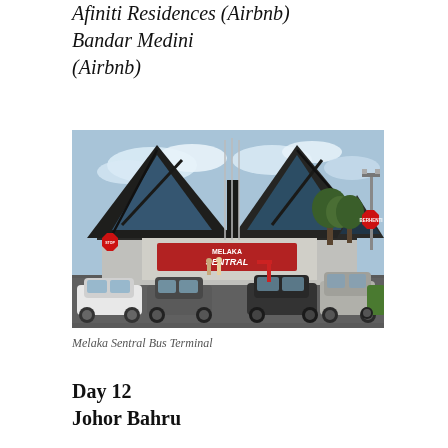Afiniti Residences (Airbnb)
Bandar Medini (Airbnb)
[Figure (photo): Exterior photograph of Melaka Sentral Bus Terminal, a distinctive building with a tall triangular peaked roof covered in dark material, featuring blue glass panels. Parked cars in the foreground, trees and a red stop sign visible on the right side, with a red BERHENTI (stop) sign.]
Melaka Sentral Bus Terminal
Day 12
Johor Bahru